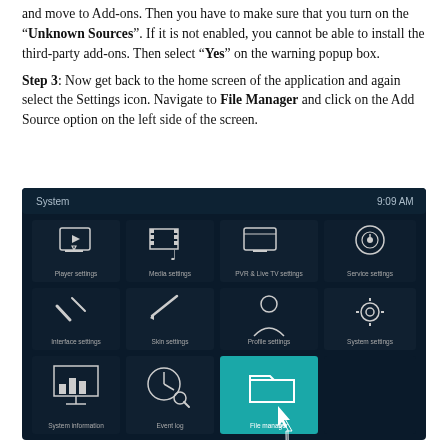and move to Add-ons. Then you have to make sure that you turn on the "Unknown Sources". If it is not enabled, you cannot be able to install the third-party add-ons. Then select "Yes" on the warning popup box.
Step 3: Now get back to the home screen of the application and again select the Settings icon. Navigate to File Manager and click on the Add Source option on the left side of the screen.
[Figure (screenshot): Screenshot of Kodi System settings screen showing icons: Player settings, Media settings, PVR & Live TV settings, Service settings, Interface settings, Skin settings, Profile settings, System settings, System information, Event log, File manager (highlighted in teal with cursor). Time shown: 9:09 AM.]